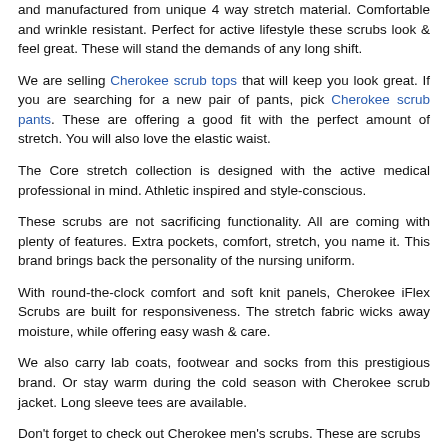and manufactured from unique 4 way stretch material. Comfortable and wrinkle resistant. Perfect for active lifestyle these scrubs look & feel great. These will stand the demands of any long shift.
We are selling Cherokee scrub tops that will keep you look great. If you are searching for a new pair of pants, pick Cherokee scrub pants. These are offering a good fit with the perfect amount of stretch. You will also love the elastic waist.
The Core stretch collection is designed with the active medical professional in mind. Athletic inspired and style-conscious.
These scrubs are not sacrificing functionality. All are coming with plenty of features. Extra pockets, comfort, stretch, you name it. This brand brings back the personality of the nursing uniform.
With round-the-clock comfort and soft knit panels, Cherokee iFlex Scrubs are built for responsiveness. The stretch fabric wicks away moisture, while offering easy wash & care.
We also carry lab coats, footwear and socks from this prestigious brand. Or stay warm during the cold season with Cherokee scrub jacket. Long sleeve tees are available.
Don't forget to check out Cherokee men's scrubs. These are scrubs